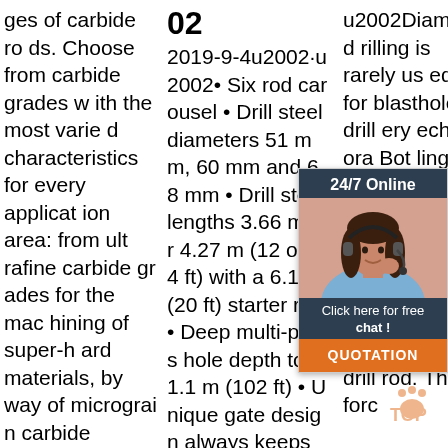ges of carbide rods. Choose from carbide grades with the most varied characteristics for every application area: from ultrafine carbide grades for the machining of super-hard materials, by way of micrograin carbide grades for universal application to cermet carbide grades f
02 2019-9-4u2002·u2002• Six rod carousel • Drill steel diameters 51 mm, 60 mm and 68 mm • Drill steel lengths 3.66 m or 4.27 m (12 or 14 ft) with a 6.1 m (20 ft) starter rod • Deep multi-pass hole depth to 31.1 m (102 ft) • Unique gate design always keeps
[Figure (infographic): Customer support widget with '24/7 Online' header, photo of woman with headset, 'Click here for free chat!' text, and orange QUOTATION button]
u2002Diamond drilling is rarely used for blasthole drill ery ech ora Bothling ssio rilling ll bit, is forced against the rock, through a hollow steel cylinder, the drill rod. The forc